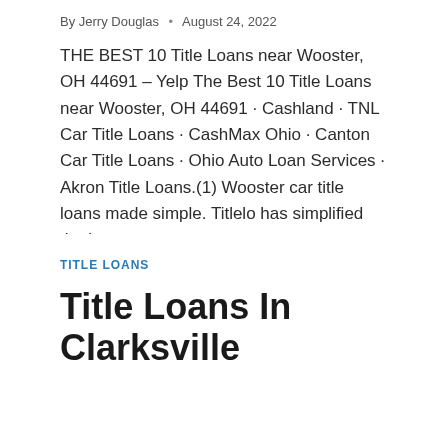By Jerry Douglas • August 24, 2022
THE BEST 10 Title Loans near Wooster, OH 44691 – Yelp The Best 10 Title Loans near Wooster, OH 44691 · Cashland · TNL Car Title Loans · CashMax Ohio · Canton Car Title Loans · Ohio Auto Loan Services · Akron Title Loans.(1) Wooster car title loans made simple. Titlelo has simplified the loan…
READ MORE →
TITLE LOANS
Title Loans In Clarksville